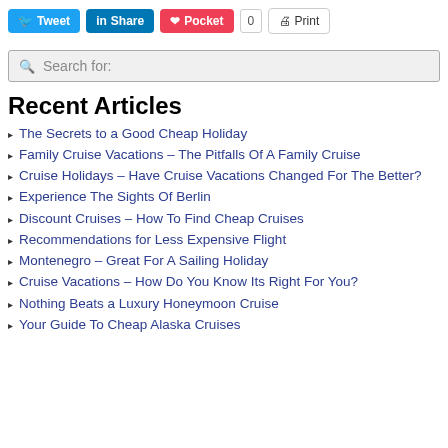Tweet | Share | Pocket 0 | Print
Search for:
Recent Articles
The Secrets to a Good Cheap Holiday
Family Cruise Vacations – The Pitfalls Of A Family Cruise
Cruise Holidays – Have Cruise Vacations Changed For The Better?
Experience The Sights Of Berlin
Discount Cruises – How To Find Cheap Cruises
Recommendations for Less Expensive Flight
Montenegro – Great For A Sailing Holiday
Cruise Vacations – How Do You Know Its Right For You?
Nothing Beats a Luxury Honeymoon Cruise
Your Guide To Cheap Alaska Cruises